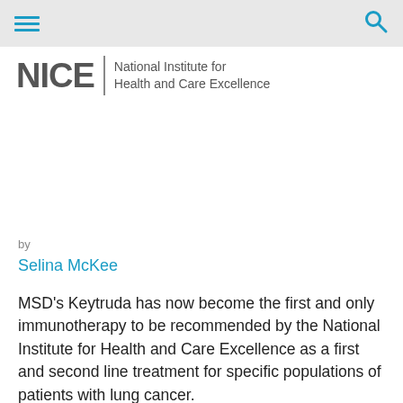NICE – National Institute for Health and Care Excellence (header navigation with hamburger menu and search icon)
[Figure (logo): NICE logo – large bold grey letters 'NICE' followed by a vertical divider and text 'National Institute for Health and Care Excellence']
by
Selina McKee
MSD's Keytruda has now become the first and only immunotherapy to be recommended by the National Institute for Health and Care Excellence as a first and second line treatment for specific populations of patients with lung cancer.